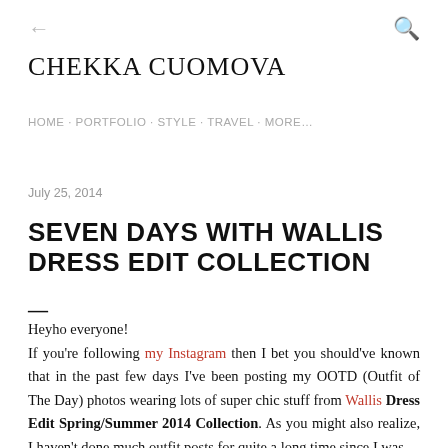← [back arrow]   [search icon]
CHEKKA CUOMOVA
HOME · PORTFOLIO · STYLE · TRAVEL · MORE…
July 25, 2014
SEVEN DAYS WITH WALLIS DRESS EDIT COLLECTION
Heyho everyone!
If you're following my Instagram then I bet you should've known that in the past few days I've been posting my OOTD (Outfit of The Day) photos wearing lots of super chic stuff from Wallis Dress Edit Spring/Summer 2014 Collection. As you might also realize, I haven't done much outfit posts for quite a long time since I was